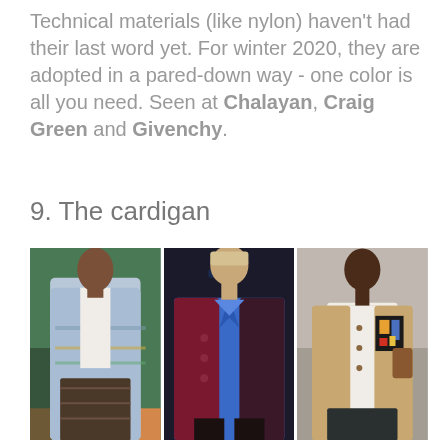Technical materials (like nylon) haven't had their last word yet. For winter 2020, they are adopted in a pared-down way - one color is all you need. Seen at Chalayan, Craig Green and Givenchy.
9. The cardigan
[Figure (photo): Three fashion runway photos showing men wearing cardigans: left shows model in blue knit cardigan with patterned pants on green runway background, center shows model in blue shirt with burgundy/dark cardigan wearing sunglasses, right shows model in tan/camel cardigan with geometric print detail.]